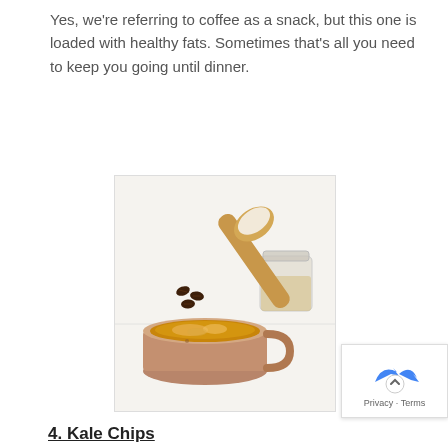Yes, we're referring to coffee as a snack, but this one is loaded with healthy fats. Sometimes that's all you need to keep you going until dinner.
[Figure (photo): Overhead view of a mug of coffee with frothy top, a wooden spoon with coconut oil, a glass jar, and coffee beans scattered on a white surface.]
4. Kale Chips